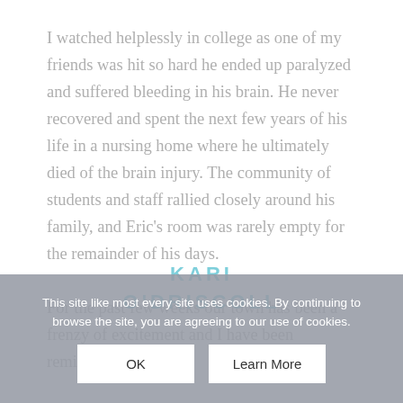I watched helplessly in college as one of my friends was hit so hard he ended up paralyzed and suffered bleeding in his brain. He never recovered and spent the next few years of his life in a nursing home where he ultimately died of the brain injury. The community of students and staff rallied closely around his family, and Eric's room was rarely empty for the remainder of his days.

For the past few weeks our town has been a frenzy of excitement and I have been reminded of the power of community. A few years ago, the
[Figure (other): Watermark text 'KARI O'DRISCOLL' overlaid on the article text in teal/cyan color]
"12th Man" ... while it may not have ... the fans of this team have become an integral part of its
This site like most every site uses cookies. By continuing to browse the site, you are agreeing to our use of cookies.